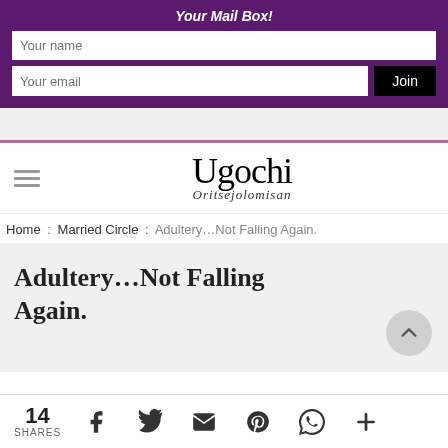Your Mail Box!
[Figure (screenshot): Website navigation screenshot with purple email signup bar, logo area with 'Ugochi Oritsejolomisan', breadcrumb navigation, and article title 'Adultery…Not Falling Again.']
Home : Married Circle : Adultery…Not Falling Again.
Adultery…Not Falling Again.
14 SHARES